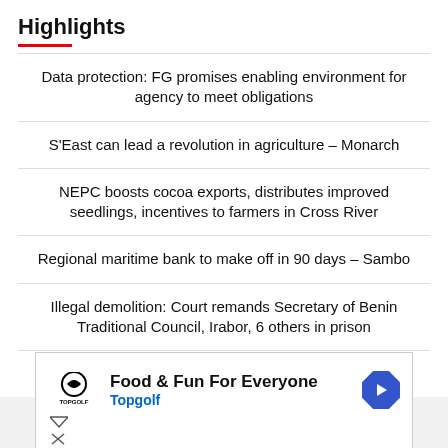Highlights
Data protection: FG promises enabling environment for agency to meet obligations
S'East can lead a revolution in agriculture – Monarch
NEPC boosts cocoa exports, distributes improved seedlings, incentives to farmers in Cross River
Regional maritime bank to make off in 90 days – Sambo
Illegal demolition: Court remands Secretary of Benin Traditional Council, Irabor, 6 others in prison
HYPPADEC commences training of 646 youths in Benue
[Figure (other): Advertisement for Topgolf: Food & Fun For Everyone, with Topgolf logo and navigation arrow icon]